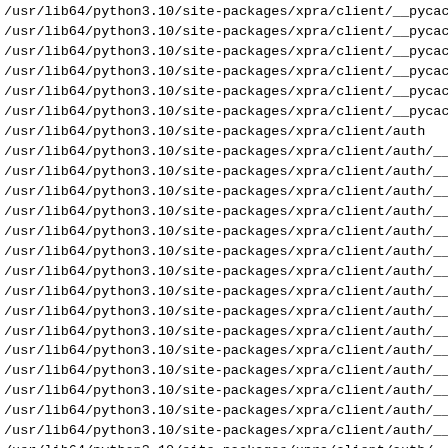/usr/lib64/python3.10/site-packages/xpra/client/__pycache__
/usr/lib64/python3.10/site-packages/xpra/client/__pycache__
/usr/lib64/python3.10/site-packages/xpra/client/__pycache__
/usr/lib64/python3.10/site-packages/xpra/client/__pycache__
/usr/lib64/python3.10/site-packages/xpra/client/__pycache__
/usr/lib64/python3.10/site-packages/xpra/client/__pycache__
/usr/lib64/python3.10/site-packages/xpra/client/auth
/usr/lib64/python3.10/site-packages/xpra/client/auth/__in
/usr/lib64/python3.10/site-packages/xpra/client/auth/__py
/usr/lib64/python3.10/site-packages/xpra/client/auth/__py
/usr/lib64/python3.10/site-packages/xpra/client/auth/__py
/usr/lib64/python3.10/site-packages/xpra/client/auth/__py
/usr/lib64/python3.10/site-packages/xpra/client/auth/__py
/usr/lib64/python3.10/site-packages/xpra/client/auth/__py
/usr/lib64/python3.10/site-packages/xpra/client/auth/__py
/usr/lib64/python3.10/site-packages/xpra/client/auth/__py
/usr/lib64/python3.10/site-packages/xpra/client/auth/__py
/usr/lib64/python3.10/site-packages/xpra/client/auth/__py
/usr/lib64/python3.10/site-packages/xpra/client/auth/__py
/usr/lib64/python3.10/site-packages/xpra/client/auth/__py
/usr/lib64/python3.10/site-packages/xpra/client/auth/__py
/usr/lib64/python3.10/site-packages/xpra/client/auth/__py
/usr/lib64/python3.10/site-packages/xpra/client/auth/__py
/usr/lib64/python3.10/site-packages/xpra/client/auth/__py
/usr/lib64/python3.10/site-packages/xpra/client/auth/__py
/usr/lib64/python3.10/site-packages/xpra/client/auth/__py
/usr/lib64/python3.10/site-packages/xpra/client/auth/env_
/usr/lib64/python3.10/site-packages/xpra/client/auth/file
/usr/lib64/python3.10/site-packages/xpra/client/auth/gss
/usr/lib64/python3.10/site-packages/xpra/client/auth/kerb
/usr/lib64/python3.10/site-packages/xpra/client/auth/pro